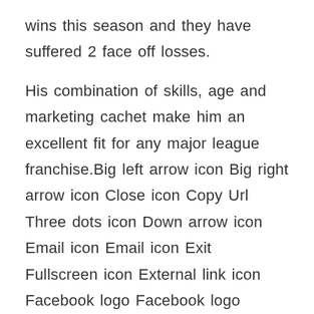wins this season and they have suffered 2 face off losses.
His combination of skills, age and marketing cachet make him an excellent fit for any major league franchise.Big left arrow icon Big right arrow icon Close icon Copy Url Three dots icon Down arrow icon Email icon Email icon Exit Fullscreen icon External link icon Facebook logo Facebook logo Instagram logo Snapchat logo YouTube logo Grid icon Key icon Left arrow icon Link icon Location icon Mail icon Menu icon Open icon Phone icon Play icon Radio icon Rewind icon Right arrow icon Search icon Select icon Selected icon TV icon Twitter logo Twitter logo Up arrow icon User icon Audio icon